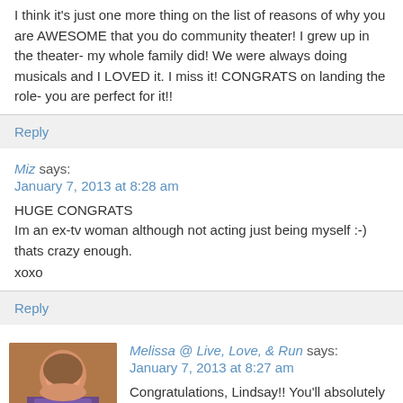I think it's just one more thing on the list of reasons of why you are AWESOME that you do community theater! I grew up in the theater- my whole family did! We were always doing musicals and I LOVED it. I miss it! CONGRATS on landing the role- you are perfect for it!!
Reply
Miz says:
January 7, 2013 at 8:28 am
HUGE CONGRATS
Im an ex-tv woman although not acting just being myself :-) thats crazy enough.

xoxo
Reply
Melissa @ Live, Love, & Run says:
January 7, 2013 at 8:27 am
Congratulations, Lindsay!! You'll absolutely rock the role!!